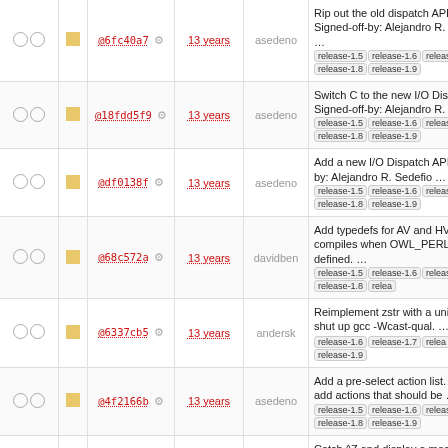|  |  | hash | age | author | description |
| --- | --- | --- | --- | --- | --- |
| ○ ○ | ■ | @6fc40a7 | 13 years | asedeno | Rip out the old dispatch API. Signed-off-by: Alejandro R. Sedefio ... release-1.5 release-1.6 release-1.7 release-1.8 release-1.9 |
| ○ ○ | ■ | @18fdd5f9 | 13 years | asedeno | Switch C to the new I/O Dispatch Signed-off-by: Alejandro R. ... release-1.5 release-1.6 release-1.7 release-1.8 release-1.9 |
| ○ ○ | ■ | @df0138f | 13 years | asedeno | Add a new I/O Dispatch API Si. off-by: Alejandro R. Sedefio ... release-1.5 release-1.6 release-1.7 release-1.8 release-1.9 |
| ○ ○ | ■ | @68c572a | 13 years | davidben | Add typedefs for AV and HV Fo compiles when OWL_PERL isn defined. ... release-1.5 release-1.6 release-1.7 release-1.8 relea |
| ○ ○ | ■ | @6337cb5 | 13 years | andersk | Reimplement zstr with a union, shut up gcc -Wcast-qual. ... re 1.5 release-1.6 release-1.7 relea 1.8 release-1.9 |
| ○ ○ | ■ | @4f2166b | 13 years | asedeno | Add a pre-select action list. All. to add actions that should be ... release-1.5 release-1.6 release-1.7 release-1.8 release-1.9 |
| ○ ○ | ■ | @40bda84 | 13 years | nelhage | Catch ^Z and display a messag instead of suspending. release-1.4 release-1.5 release-1.6 relea 1.7 release-1.8 release-1.9 |
| ○ ○ | ■ | @24ccc01 | 13 years | nelhage | Replace owl_message_create_from_zw with ... release-1.4 release-1.5 release-1.6 release-1.7 release-1.8 relea |
| ○ ○ | ■ |  | 13 years |  | Use pid_t type for pids. Signe |